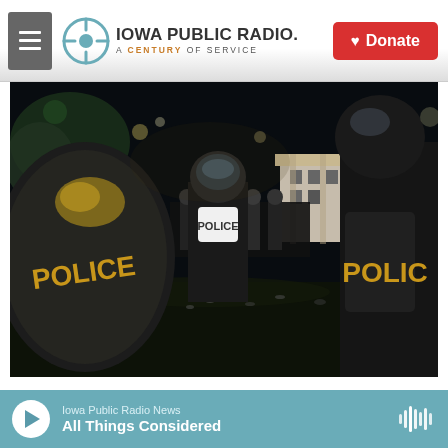Iowa Public Radio. A Century of Service. Donate
[Figure (photo): Police officers in riot gear with shields labeled POLICE holding a perimeter at night near the White House during George Floyd protests, May 30 2020.]
Members of the U.S. Secret Service hold a perimeter near the White House as demonstrators gather to protest the killing of George Floyd on May 30, 2020 in Washington, DC. (Alex Wong/Getty Images)
Iowa Public Radio News — All Things Considered